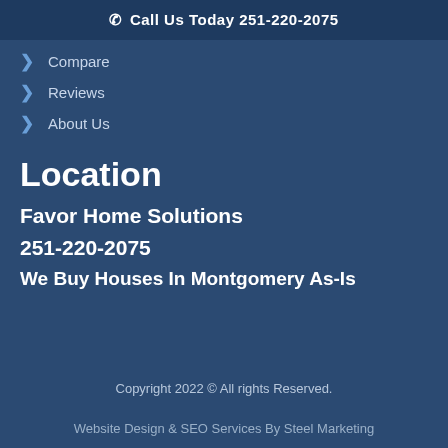Call Us Today 251-220-2075
Compare
Reviews
About Us
Location
Favor Home Solutions
251-220-2075
We Buy Houses In Montgomery As-Is
Copyright 2022 © All rights Reserved.
Website Design & SEO Services By Steel Marketing